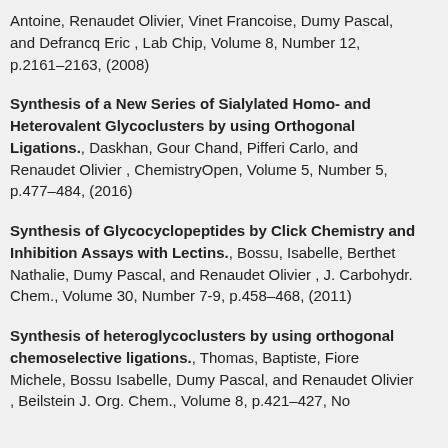Antoine, Renaudet Olivier, Vinet Francoise, Dumy Pascal, and Defrancq Eric , Lab Chip, Volume 8, Number 12, p.2161-2163, (2008)
Synthesis of a New Series of Sialylated Homo- and Heterovalent Glycoclusters by using Orthogonal Ligations., Daskhan, Gour Chand, Pifferi Carlo, and Renaudet Olivier , ChemistryOpen, Volume 5, Number 5, p.477-484, (2016)
Synthesis of Glycocyclopeptides by Click Chemistry and Inhibition Assays with Lectins., Bossu, Isabelle, Berthet Nathalie, Dumy Pascal, and Renaudet Olivier , J. Carbohydr. Chem., Volume 30, Number 7-9, p.458-468, (2011)
Synthesis of heteroglycoclusters by using orthogonal chemoselective ligations., Thomas, Baptiste, Fiore Michele, Bossu Isabelle, Dumy Pascal, and Renaudet Olivier , Beilstein J. Org. Chem., Volume 8, p.421-427, No